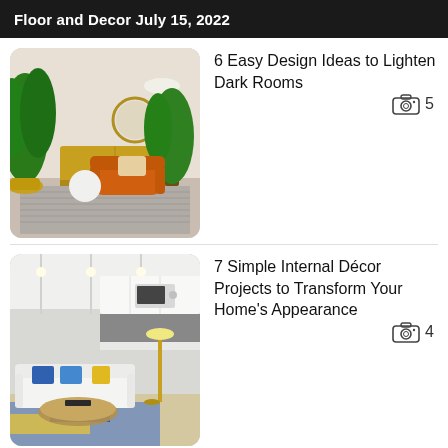Floor and Decor July 15, 2022
[Figure (photo): Bright living room with orange armchair, tropical plants, gold credenza, round mirror, and patterned rug]
6 Easy Design Ideas to Lighten Dark Rooms
5
[Figure (photo): Modern open-plan living room and kitchen with white sofa, colorful pillows, geometric rug, and gold floor lamp]
7 Simple Internal Décor Projects to Transform Your Home's Appearance
4